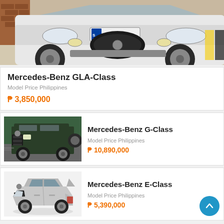[Figure (photo): Mercedes-Benz GLA-Class SUV front view with German license plate S UV 2475, photographed from low angle showing front bumper and wheels in a parking structure]
Mercedes-Benz GLA-Class
Model Price Philippines
₱ 3,850,000
[Figure (photo): Mercedes-Benz G-Class dark green SUV driving on a road with green hills in background]
Mercedes-Benz G-Class
Model Price Philippines
₱ 10,890,000
[Figure (photo): Mercedes-Benz E-Class silver sedan on white background, front three-quarter view]
Mercedes-Benz E-Class
Model Price Philippines
₱ 5,390,000